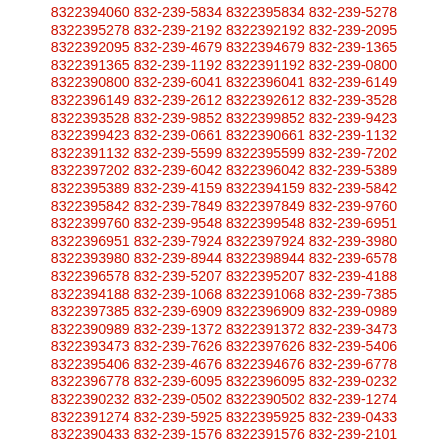8322394060 832-239-5834 8322395834 832-239-5278
8322395278 832-239-2192 8322392192 832-239-2095
8322392095 832-239-4679 8322394679 832-239-1365
8322391365 832-239-1192 8322391192 832-239-0800
8322390800 832-239-6041 8322396041 832-239-6149
8322396149 832-239-2612 8322392612 832-239-3528
8322393528 832-239-9852 8322399852 832-239-9423
8322399423 832-239-0661 8322390661 832-239-1132
8322391132 832-239-5599 8322395599 832-239-7202
8322397202 832-239-6042 8322396042 832-239-5389
8322395389 832-239-4159 8322394159 832-239-5842
8322395842 832-239-7849 8322397849 832-239-9760
8322399760 832-239-9548 8322399548 832-239-6951
8322396951 832-239-7924 8322397924 832-239-3980
8322393980 832-239-8944 8322398944 832-239-6578
8322396578 832-239-5207 8322395207 832-239-4188
8322394188 832-239-1068 8322391068 832-239-7385
8322397385 832-239-6909 8322396909 832-239-0989
8322390989 832-239-1372 8322391372 832-239-3473
8322393473 832-239-7626 8322397626 832-239-5406
8322395406 832-239-4676 8322394676 832-239-6778
8322396778 832-239-6095 8322396095 832-239-0232
8322390232 832-239-0502 8322390502 832-239-1274
8322391274 832-239-5925 8322395925 832-239-0433
8322390433 832-239-1576 8322391576 832-239-2101